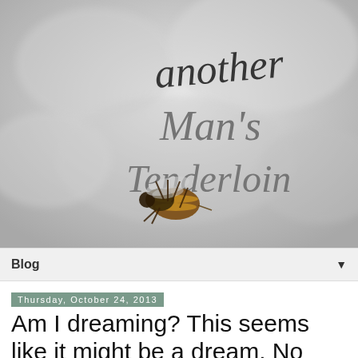[Figure (photo): Blog header image showing a blurred white/grey cloudy background with handwritten cursive text reading 'Another Man's Tenderloin' and a dead bee lying on its back in the lower center of the image.]
Blog ▼
Thursday, October 24, 2013
Am I dreaming? This seems like it might be a dream. No more jalapeño